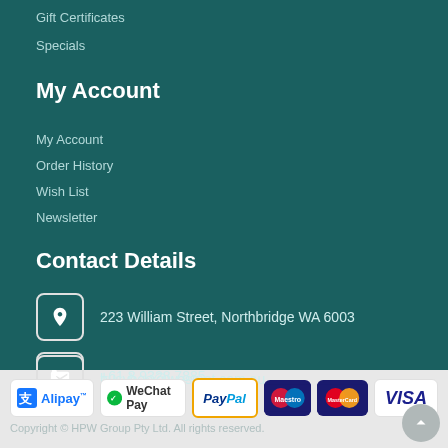Gift Certificates
Specials
My Account
My Account
Order History
Wish List
Newsletter
Contact Details
223 William Street, Northbridge WA 6003
+61 8 9328 7885
busybee@westnet.com.au
[Figure (logo): Payment method logos: Alipay, WeChat Pay, PayPal, Maestro, MasterCard, Visa]
Copyright © HPW Group Pty Ltd. All rights reserved.